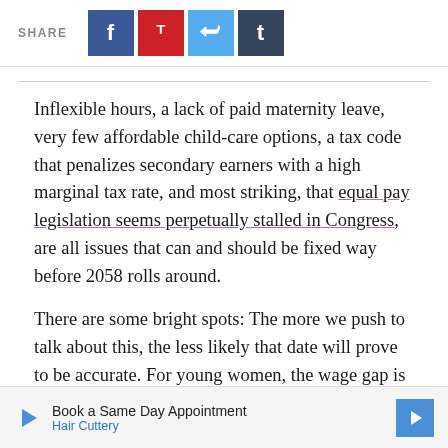SHARE [Facebook] [Pinterest] [Twitter] [Tumblr]
Inflexible hours, a lack of paid maternity leave, very few affordable child-care options, a tax code that penalizes secondary earners with a high marginal tax rate, and most striking, that equal pay legislation seems perpetually stalled in Congress, are all issues that can and should be fixed way before 2058 rolls around.
There are some bright spots: The more we push to talk about this, the less likely that date will prove to be accurate. For young women, the wage gap is smaller than for other women, 93 cents to the dollar, showing that real progress is being made. While it has gone in and out of vogue over
[Figure (other): Advertisement banner: Book a Same Day Appointment - Hair Cuttery]